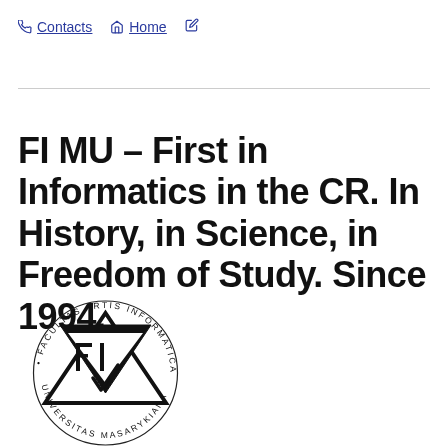Contacts  Home
FI MU – First in Informatics in the CR. In History, in Science, in Freedom of Study. Since 1994.
[Figure (logo): Masaryk University Faculty of Informatics seal/logo — a triangular FI emblem with circular text reading FACULTAS ARTIS INFORMATICAE • UNIVERSITAS MASARYKIANA]